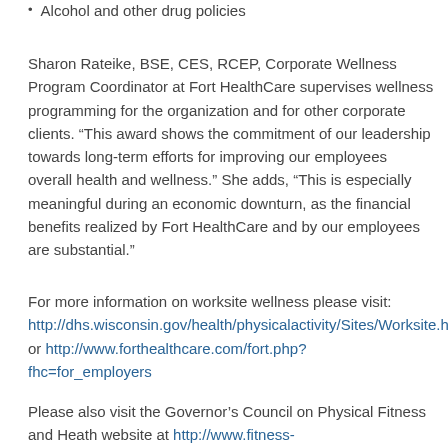Alcohol and other drug policies
Sharon Rateike, BSE, CES, RCEP, Corporate Wellness Program Coordinator at Fort HealthCare supervises wellness programming for the organization and for other corporate clients. “This award shows the commitment of our leadership towards long-term efforts for improving our employees overall health and wellness.” She adds, “This is especially meaningful during an economic downturn, as the financial benefits realized by Fort HealthCare and by our employees are substantial.”
For more information on worksite wellness please visit: http://dhs.wisconsin.gov/health/physicalactivity/Sites/Worksite.h or http://www.forthealthcare.com/fort.php?fhc=for_employers
Please also visit the Governor’s Council on Physical Fitness and Heath website at http://www.fitness-